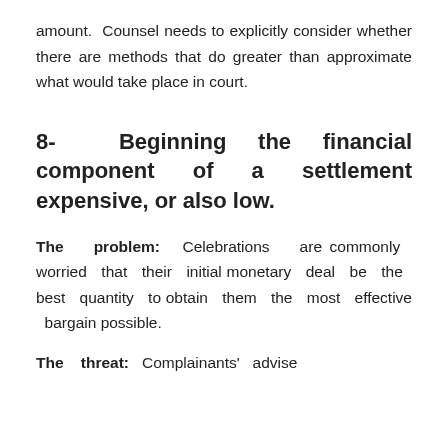amount. Counsel needs to explicitly consider whether there are methods that do greater than approximate what would take place in court.
8- Beginning the financial component of a settlement expensive, or also low.
The problem: Celebrations are commonly worried that their initial monetary deal be the best quantity to obtain them the most effective bargain possible.
The threat: Complainants' advise